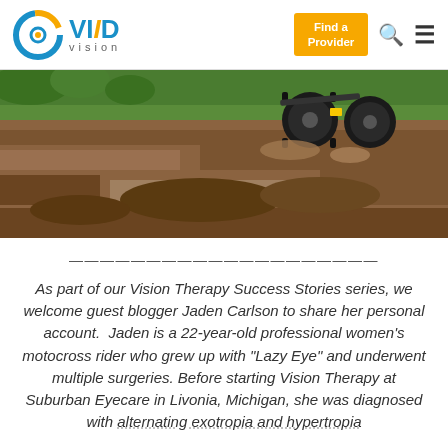Vivid Vision — Find a Provider
[Figure (photo): Close-up of a motocross bike rear wheel kicking up dirt on a dirt track with green vegetation in background]
————————————————————————
As part of our Vision Therapy Success Stories series, we welcome guest blogger Jaden Carlson to share her personal account. Jaden is a 22-year-old professional women's motocross rider who grew up with "Lazy Eye" and underwent multiple surgeries. Before starting Vision Therapy at Suburban Eyecare in Livonia, Michigan, she was diagnosed with alternating exotropia and hypertropia